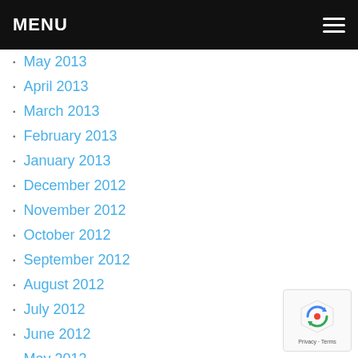MENU
May 2013
April 2013
March 2013
February 2013
January 2013
December 2012
November 2012
October 2012
September 2012
August 2012
July 2012
June 2012
May 2012